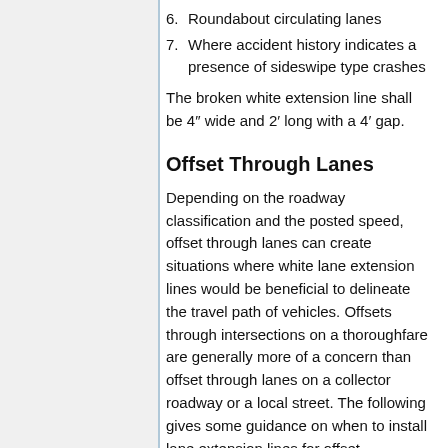6. Roundabout circulating lanes
7. Where accident history indicates a presence of sideswipe type crashes
The broken white extension line shall be 4" wide and 2′ long with a 4′ gap.
Offset Through Lanes
Depending on the roadway classification and the posted speed, offset through lanes can create situations where white lane extension lines would be beneficial to delineate the travel path of vehicles. Offsets through intersections on a thoroughfare are generally more of a concern than offset through lanes on a collector roadway or a local street. The following gives some guidance on when to install lane extension lines for offset